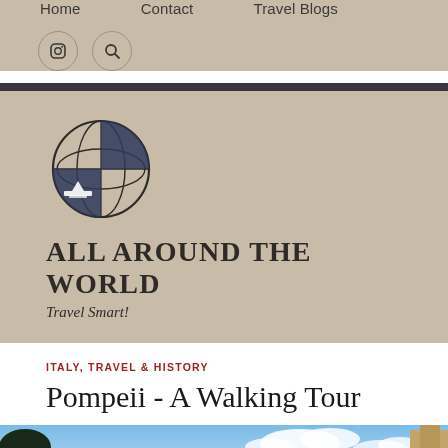Home   Contact   Travel Blogs
[Figure (logo): Globe logo with ship illustration for 'All Around The World' travel blog]
ALL AROUND THE WORLD
Travel Smart!
ITALY, TRAVEL & HISTORY
Pompeii - A Walking Tour
[Figure (photo): Partial photo showing blue sky with clouds and ruins/structures at Pompeii]
Follow   ...